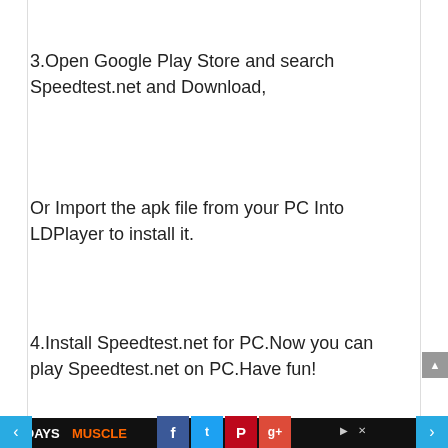3.Open Google Play Store and search Speedtest.net and Download,
Or Import the apk file from your PC Into LDPlayer to install it.
4.Install Speedtest.net for PC.Now you can play Speedtest.net on PC.Have fun!
[Figure (infographic): Advertisement banner: 30-DAYS MUSCLE GAIN PLAN with WORKOUT PLAN and MEAL PLAN sections on black background, with social sharing buttons (Facebook, Twitter, Pinterest, Google+) and navigation arrows]